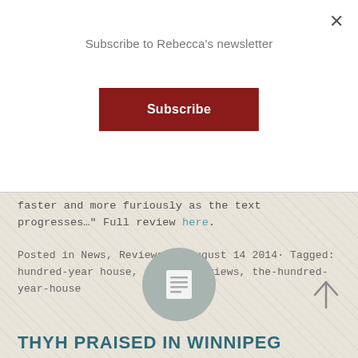Subscribe to Rebecca's newsletter
Subscribe
faster and more furiously as the text progresses…" Full review here.
Posted in News, Reviews on August 14 2014· Tagged: hundred-year house, praise, reviews, the-hundred-year-house
[Figure (illustration): Circular document/page icon in gray-green circle]
THYH PRAISED IN WINNIPEG